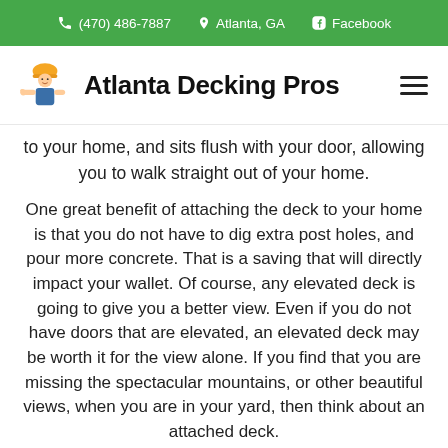(470) 486-7887   Atlanta, GA   Facebook
Atlanta Decking Pros
to your home, and sits flush with your door, allowing you to walk straight out of your home.
One great benefit of attaching the deck to your home is that you do not have to dig extra post holes, and pour more concrete. That is a saving that will directly impact your wallet. Of course, any elevated deck is going to give you a better view. Even if you do not have doors that are elevated, an elevated deck may be worth it for the view alone. If you find that you are missing the spectacular mountains, or other beautiful views, when you are in your yard, then think about an attached deck.